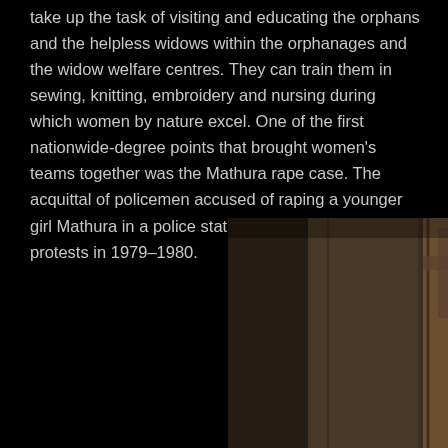take up the task of visiting and educating the orphans and the helpless widows within the orphanages and the widow welfare centres. They can train them in sewing, knitting, embroidery and nursing during which women by nature excel. One of the first nationwide-degree points that brought women's teams together was the Mathura rape case. The acquittal of policemen accused of raping a younger girl Mathura in a police station led to country-wide protests in 1979–1980.
[Figure (photo): Portrait photo of a young woman with long dark hair wearing a light blue saree, standing in front of a rustic wooden background]